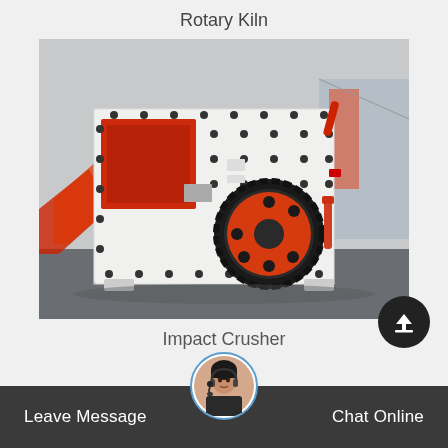Rotary Kiln
[Figure (photo): Impact crusher machine — large white industrial crushing machine with red flywheel/pulley and red-orange interior, black rubber belt, mounted on metal frame in an industrial warehouse setting.]
Impact Crusher
Leave Message   Chat Online